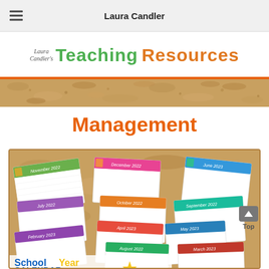Laura Candler
[Figure (logo): Laura Candler's Teaching Resources logo with script text and bold green/orange typography]
[Figure (photo): Cork board texture banner strip with orange top border]
Management
[Figure (photo): Collection of School Year Calendar pages for 2022-2023 fanned out on a cork board background, showing months including November 2022, December 2022, June 2023, July 2022, October 2022, September 2022, April 2023, May 2023, February 2023, August 2022, March 2023, January 2023, with colorful headers and school-themed clipart. Bottom shows 'School Year CALENDAR...' text in blue and yellow.]